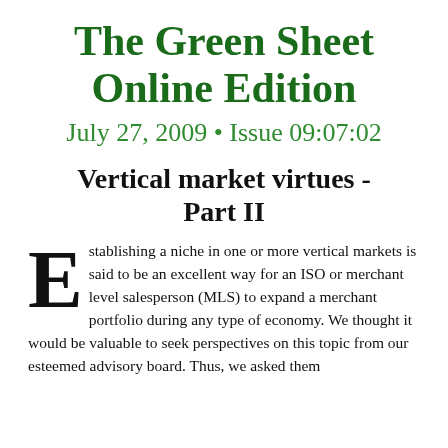The Green Sheet Online Edition
July 27, 2009 • Issue 09:07:02
Vertical market virtues - Part II
Establishing a niche in one or more vertical markets is said to be an excellent way for an ISO or merchant level salesperson (MLS) to expand a merchant portfolio during any type of economy. We thought it would be valuable to seek perspectives on this topic from our esteemed advisory board. Thus, we asked them